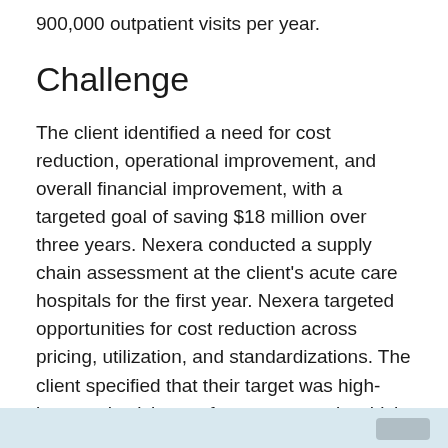900,000 outpatient visits per year.
Challenge
The client identified a need for cost reduction, operational improvement, and overall financial improvement, with a targeted goal of saving $18 million over three years. Nexera conducted a supply chain assessment at the client's acute care hospitals for the first year. Nexera targeted opportunities for cost reduction across pricing, utilization, and standardizations. The client specified that their target was high-impact physician preference areas, in which